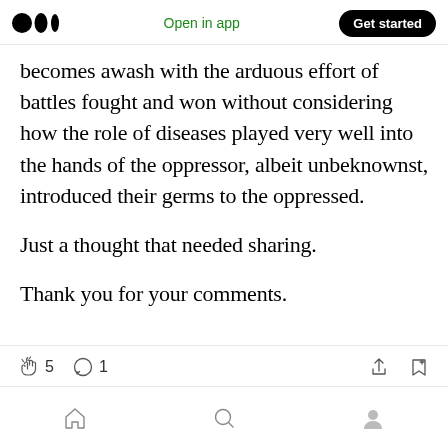Open in app | Get started
becomes awash with the arduous effort of battles fought and won without considering how the role of diseases played very well into the hands of the oppressor, albeit unbeknownst, introduced their germs to the oppressed.
Just a thought that needed sharing.
Thank you for your comments.
5 claps | 1 comment | share | save